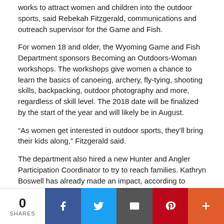works to attract women and children into the outdoor sports, said Rebekah Fitzgerald, communications and outreach supervisor for the Game and Fish.
For women 18 and older, the Wyoming Game and Fish Department sponsors Becoming an Outdoors-Woman workshops. The workshops give women a chance to learn the basics of canoeing, archery, fly-tying, shooting skills, backpacking, outdoor photography and more, regardless of skill level. The 2018 date will be finalized by the start of the year and will likely be in August.
“As women get interested in outdoor sports, they’ll bring their kids along,” Fitzgerald said.
The department also hired a new Hunter and Angler Participation Coordinator to try to reach families. Kathryn Boswell has already made an impact, according to Fitzgerald. One program — a three-day shooting and hunting seminar for women and their children — ends Saturday with a pheasant hunt.
Boswell will also bring back the Outdoor Expo, a three-day affair
0 SHARES